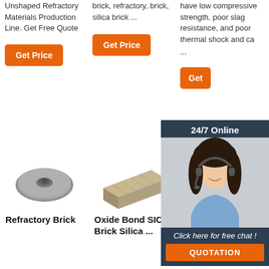Unshaped Refractory Materials Production Line. Get Free Quote
[Figure (other): Orange 'Get Price' button]
brick, refractory, brick, silica brick ...
[Figure (other): Orange 'Get Price' button]
have low compressive strength, poor slag resistance, and poor thermal shock and ca ...
[Figure (other): Orange 'Get' button (partially obscured)]
[Figure (other): 24/7 Online chat widget with woman wearing headset, click here for free chat, QUOTATION button]
[Figure (photo): Refractory brick stopper rod product image]
Refractory Brick
[Figure (photo): Oxide Bond SIC Brick product image]
Oxide Bond SIC Brick Silica ...
[Figure (logo): Refractory TOP Products and Monolithics logo with orange dots]
Refractory Products and Monolithics: